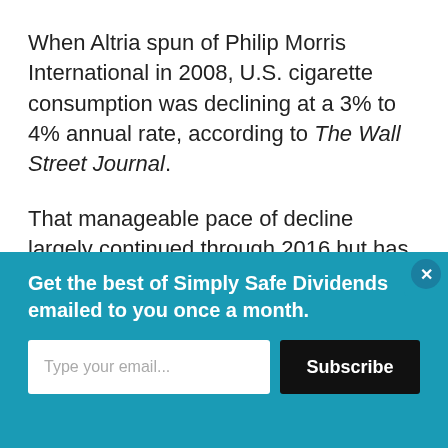When Altria spun of Philip Morris International in 2008, U.S. cigarette consumption was declining at a 3% to 4% annual rate, according to The Wall Street Journal.
That manageable pace of decline largely continued through 2016 but has since accelerated due to the continued aging of older smokers, growth in alternative products such as e-cigarettes, and many states raising
Get the best of Simply Safe Dividends emailed to you once a month.
Type your email...
Subscribe